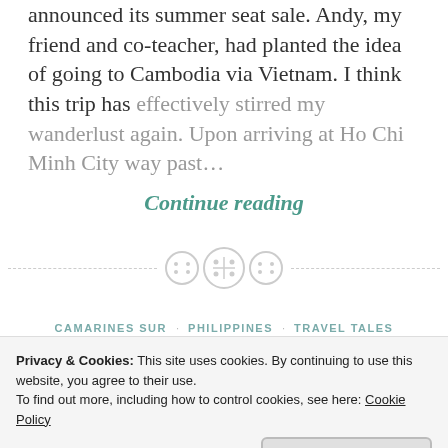…without lunging for money when AirAsia announced its summer seat sale. Andy, my friend and co-teacher, had planted the idea of going to Cambodia via Vietnam. I think this trip has effectively stirred my wanderlust again. Upon arriving at Ho Chi Minh City way past…
Continue reading
[Figure (illustration): Three decorative circular button icons used as a section divider, with dashed lines on either side]
CAMARINES SUR · PHILIPPINES · TRAVEL TALES
Privacy & Cookies: This site uses cookies. By continuing to use this website, you agree to their use. To find out more, including how to control cookies, see here: Cookie Policy
Close and accept